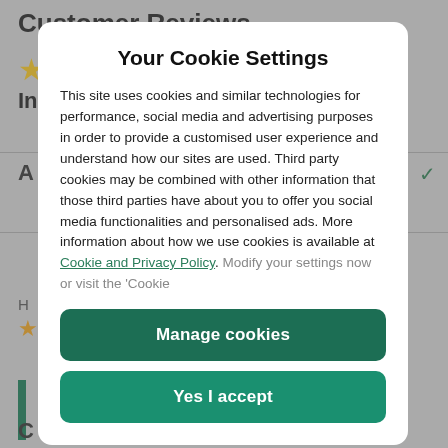Your Cookie Settings
This site uses cookies and similar technologies for performance, social media and advertising purposes in order to provide a customised user experience and understand how our sites are used. Third party cookies may be combined with other information that those third parties have about you to offer you social media functionalities and personalised ads. More information about how we use cookies is available at Cookie and Privacy Policy. Modify your settings now or visit the ‘Cookie
[Figure (screenshot): Background page showing Customer Reviews section partially visible behind cookie consent modal]
Manage cookies
Yes I accept